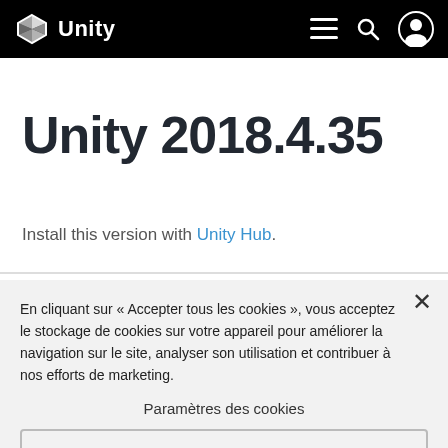Unity [logo] | [menu] [search] [user]
Unity 2018.4.35
Install this version with Unity Hub.
En cliquant sur « Accepter tous les cookies », vous acceptez le stockage de cookies sur votre appareil pour améliorer la navigation sur le site, analyser son utilisation et contribuer à nos efforts de marketing.
Paramètres des cookies